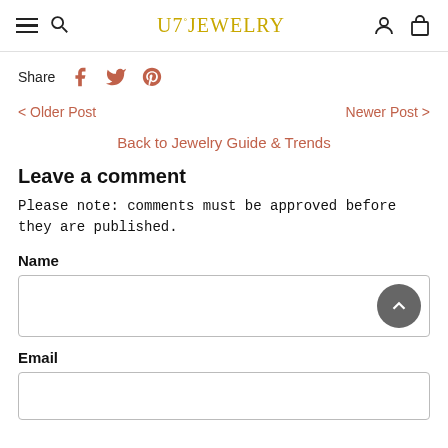U7° JEWELRY
Share
< Older Post    Newer Post >
Back to Jewelry Guide & Trends
Leave a comment
Please note: comments must be approved before they are published.
Name
Email